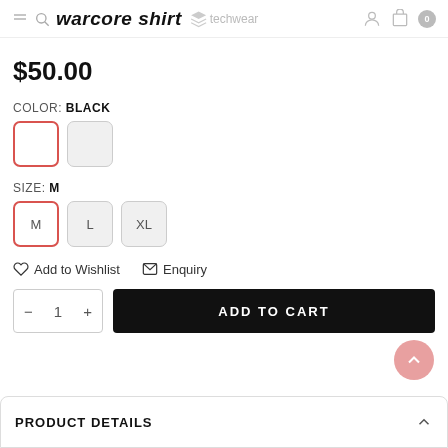warcore shirt
$50.00
COLOR: BLACK
SIZE: M
Add to Wishlist  Enquiry
— 1 +  ADD TO CART
PRODUCT DETAILS